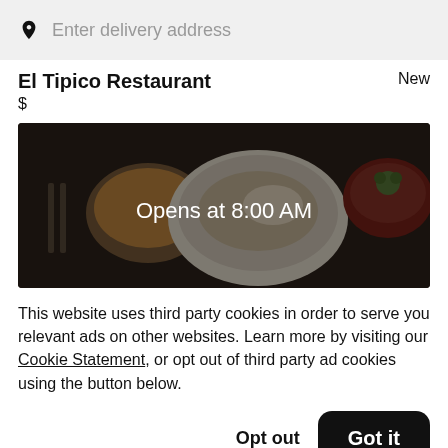Enter delivery address
El Tipico Restaurant
New
$
[Figure (photo): Overhead photo of restaurant food — a plate of food, a bowl of soup, and a red bowl with a garnished dish, overlaid with dark semi-transparent overlay and text 'Opens at 8:00 AM']
This website uses third party cookies in order to serve you relevant ads on other websites. Learn more by visiting our Cookie Statement, or opt out of third party ad cookies using the button below.
Opt out
Got it